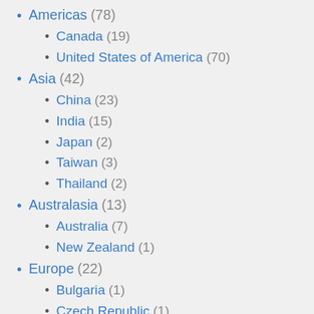Americas (78)
Canada (19)
United States of America (70)
Asia (42)
China (23)
India (15)
Japan (2)
Taiwan (3)
Thailand (2)
Australasia (13)
Australia (7)
New Zealand (1)
Europe (22)
Bulgaria (1)
Czech Republic (1)
France (6)
Germany (6)
Iceland (1)